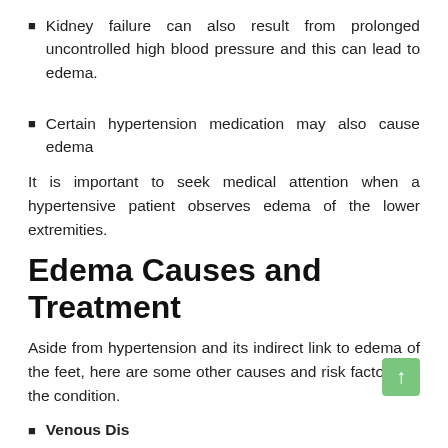Kidney failure can also result from prolonged uncontrolled high blood pressure and this can lead to edema.
Certain hypertension medication may also cause edema
It is important to seek medical attention when a hypertensive patient observes edema of the lower extremities.
Edema Causes and Treatment
Aside from hypertension and its indirect link to edema of the feet, here are some other causes and risk factors for the condition.
Venous Disease